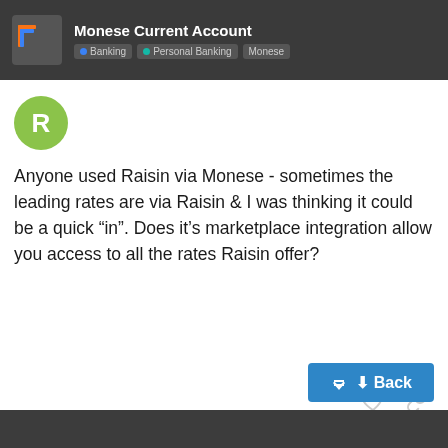Monese Current Account | Banking · Personal Banking · Monese
Anyone used Raisin via Monese - sometimes the leading rates are via Raisin & I was thinking it could be a quick “in”. Does it’s marketplace integration allow you access to all the rates Raisin offer?
9 DAYS LATER
Rexx  1  19 Jun
Well I reopened the Monese account - Raisin integration is still waiting on…Raisin…